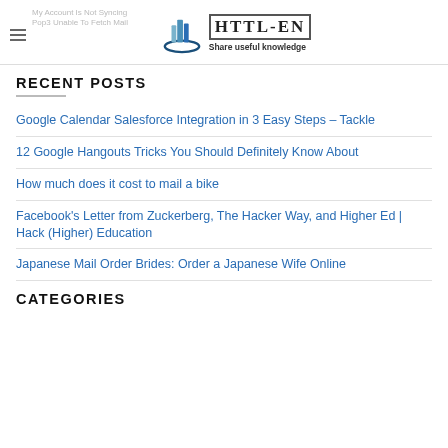HTTL-EN Share useful knowledge
RECENT POSTS
Google Calendar Salesforce Integration in 3 Easy Steps – Tackle
12 Google Hangouts Tricks You Should Definitely Know About
How much does it cost to mail a bike
Facebook's Letter from Zuckerberg, The Hacker Way, and Higher Ed | Hack (Higher) Education
Japanese Mail Order Brides: Order a Japanese Wife Online
CATEGORIES